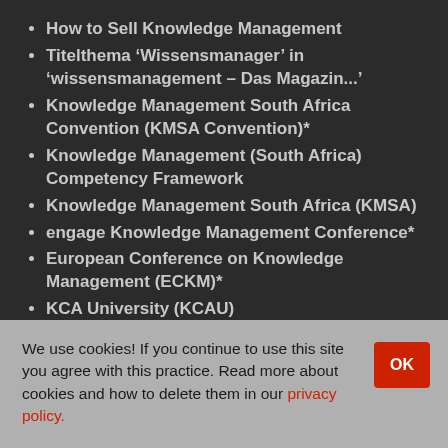How to Sell Knowledge Management
Titelthema ‘Wissensmanager’ in ‘wissensmanagement – Das Magazin...’
Knowledge Management South Africa Convention (KMSA Convention)*
Knowledge Management (South Africa) Competency Framework
Knowledge Management South Africa (KMSA)
engage Knowledge Management Conference*
European Conference on Knowledge Management (ECKM)*
KCA University (KCAU)
We use cookies! If you continue to use this site you agree with this practice. Read more about cookies and how to delete them in our privacy policy.